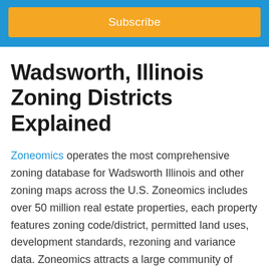Subscribe
Wadsworth, Illinois Zoning Districts Explained
Zoneomics operates the most comprehensive zoning database for Wadsworth Illinois and other zoning maps across the U.S. Zoneomics includes over 50 million real estate properties, each property features zoning code/district, permitted land uses, development standards, rezoning and variance data. Zoneomics attracts a large community of Illinois real estate professionals.